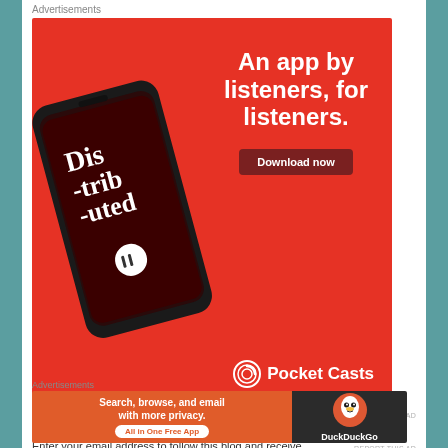Advertisements
[Figure (photo): Pocket Casts podcast app advertisement on red background. Shows a smartphone with 'Distributed' podcast artwork. Text reads: 'An app by listeners, for listeners.' with a 'Download now' button and Pocket Casts logo.]
REPORT THIS AD
Follow Blog via Email
Enter your email address to follow this blog and receive notifications of new posts by email.
Advertisements
[Figure (photo): DuckDuckGo advertisement. Left side orange background: 'Search, browse, and email with more privacy. All in One Free App'. Right side dark background with DuckDuckGo duck logo and text 'DuckDuckGo'.]
REPORT THIS AD